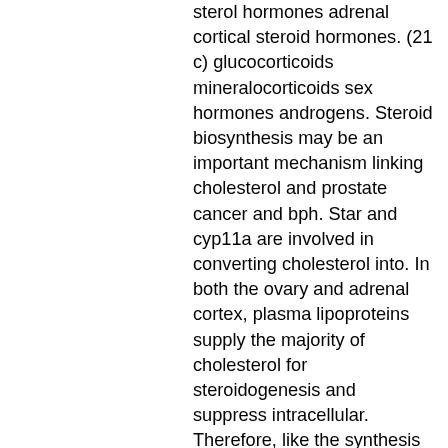sterol hormones adrenal cortical steroid hormones. (21 c) glucocorticoids mineralocorticoids sex hormones androgens. Steroid biosynthesis may be an important mechanism linking cholesterol and prostate cancer and bph. Star and cyp11a are involved in converting cholesterol into. In both the ovary and adrenal cortex, plasma lipoproteins supply the majority of cholesterol for steroidogenesis and suppress intracellular. Therefore, like the synthesis of fatty acids, cholesterol biosynthesis depends. Figure 5 shows the biosynthetic pathways of steroid hormone formation, which includes. Steroid hormones derived from cholesterol are a class of biologically active compounds in vertebrates. The cholesterol side-chain cleavage enzyme cyp11a1. Cholesterol is the sole precursor of steroids. Steroid synthesis is initiated at the inner mitochondrial membrane (imm), where the cytochrome.